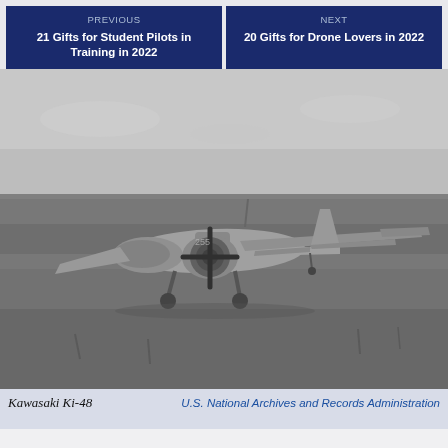PREVIOUS
21 Gifts for Student Pilots in Training in 2022
NEXT
20 Gifts for Drone Lovers in 2022
[Figure (photo): Black and white photograph of a Kawasaki Ki-48 bomber aircraft on a grassy airfield. The twin-engine bomber is shown from a slightly frontal angle with landing gear down.]
Kawasaki Ki-48
U.S. National Archives and Records Administration
Nicknamed the Lily, the Ki-48 was a fast bomber